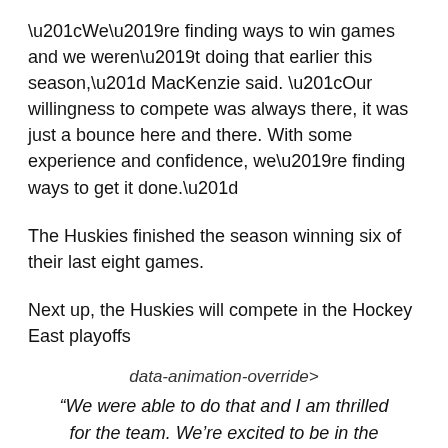“We’re finding ways to win games and we weren’t doing that earlier this season,” MacKenzie said. “Our willingness to compete was always there, it was just a bounce here and there. With some experience and confidence, we’re finding ways to get it done.”
The Huskies finished the season winning six of their last eight games.
Next up, the Huskies will compete in the Hockey East playoffs
data-animation-override>
“We were able to do that and I am thrilled for the team. We’re excited to be in the playoffs, but we have another game tomorrow we need to focus on first”
Head Coach Chris MacKenzie